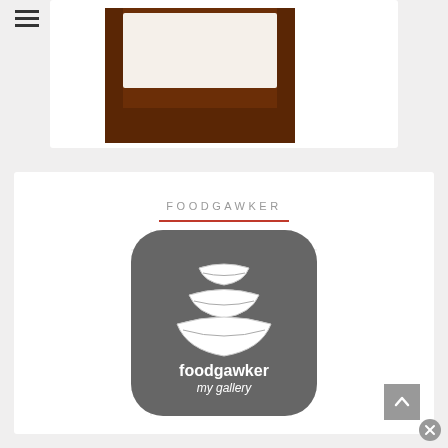[Figure (logo): Hamburger menu icon (three horizontal lines) in top left corner]
[Figure (illustration): Partial white card at top showing a brown wooden clipboard or tray illustration, partially cropped]
[Figure (logo): Foodgawker section with title FOODGAWKER, red underline, and foodgawker app badge icon showing stacked white bowls on gray background with text 'foodgawker my gallery']
[Figure (logo): Gray scroll-to-top button with upward chevron arrow in bottom right of the foodgawker card]
[Figure (logo): Gray circle close/dismiss button in bottom-right corner of page]